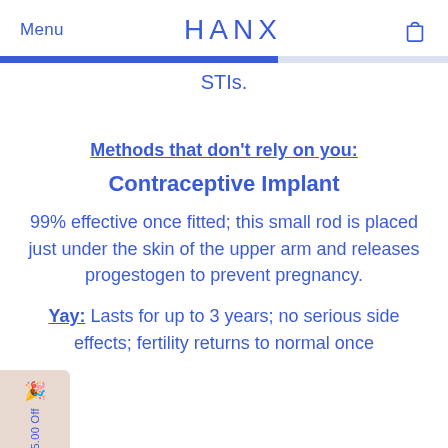Menu  HANX  [bag icon]
[Figure (other): Progress bar showing approximately 62% completion, blue fill on light blue/grey background]
STIs.
Methods that don't rely on you:
Contraceptive Implant
99% effective once fitted; this small rod is placed just under the skin of the upper arm and releases progestogen to prevent pregnancy.
Yay: Lasts for up to 3 years; no serious side effects; fertility returns to normal once